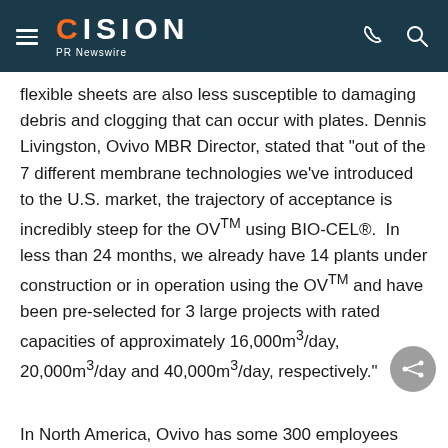CISION PR Newswire
flexible sheets are also less susceptible to damaging debris and clogging that can occur with plates. Dennis Livingston, Ovivo MBR Director, stated that "out of the 7 different membrane technologies we've introduced to the U.S. market, the trajectory of acceptance is incredibly steep for the OV™ using BIO-CEL®.  In less than 24 months, we already have 14 plants under construction or in operation using the OV™ and have been pre-selected for 3 large projects with rated capacities of approximately 16,000m³/day, 20,000m³/day and 40,000m³/day, respectively."
In North America, Ovivo has some 300 employees